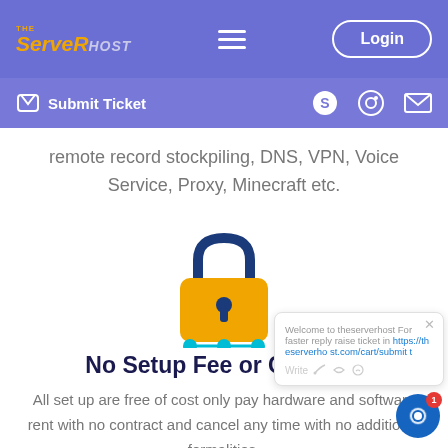THE ServerHost — Navigation bar with Login button
Submit Ticket — sub navigation bar with Skype, WhatsApp, Email icons
remote record stockpiling, DNS, VPN, Voice Service, Proxy, Minecraft etc.
[Figure (illustration): Padlock security icon in orange and dark blue with teal network connection nodes below]
No Setup Fee or Contract
All set up are free of cost only pay hardware and software rent with no contract and cancel any time with no additional formalities.